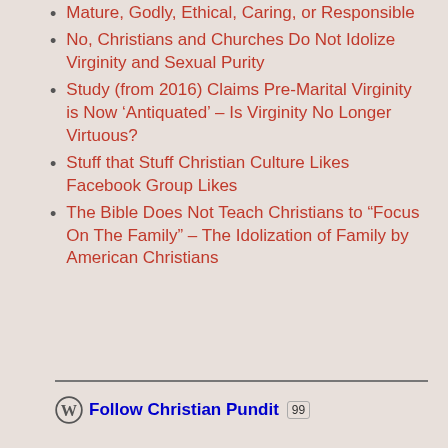Mature, Godly, Ethical, Caring, or Responsible
No, Christians and Churches Do Not Idolize Virginity and Sexual Purity
Study (from 2016) Claims Pre-Marital Virginity is Now ‘Antiquated’ – Is Virginity No Longer Virtuous?
Stuff that Stuff Christian Culture Likes Facebook Group Likes
The Bible Does Not Teach Christians to “Focus On The Family” – The Idolization of Family by American Christians
Follow Christian Pundit 99